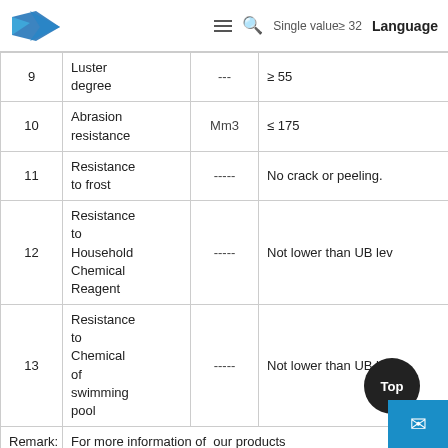Single value≥ 32  Language
|  | Name | Unit | Value |
| --- | --- | --- | --- |
| 9 | Luster degree | --- | ≥ 55 |
| 10 | Abrasion resistance | Mm3 | ≤ 175 |
| 11 | Resistance to frost | ----- | No crack or peeling. |
| 12 | Resistance to Household Chemical Reagent | ----- | Not lower than UB lev… |
| 13 | Resistance to Chemical of swimming pool | ----- | Not lower than UB lev… |
| Remark: |  |  | For more information of our products… |